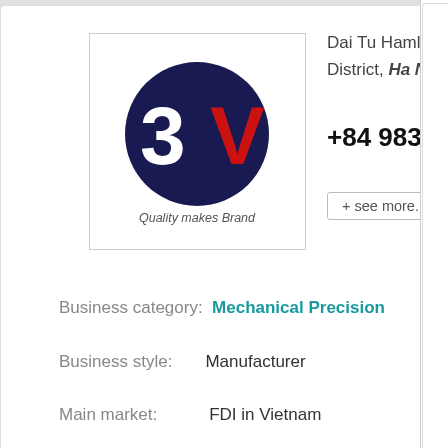[Figure (logo): 3V company logo: dark navy circle with '3V' text in white and red, tagline 'Quality makes Brand' in italic below]
Dai Tu Hamlet, Kim Chu District, Ha Noi, Vietnam
+84 983912383
+ see more...
Business category: Mechanical Precision
Business style: Manufacturer
Main market: FDI in Vietnam
Bao Vinh specializes in mechanical precision requirements including:
1. Design and Fabrication of Jigs (Jigs): Asse...
2. Design and fabrication of shelves, trolleys...
Send email
www.bao...
22 EQ VINA Co., Ltd
Ensure accurate